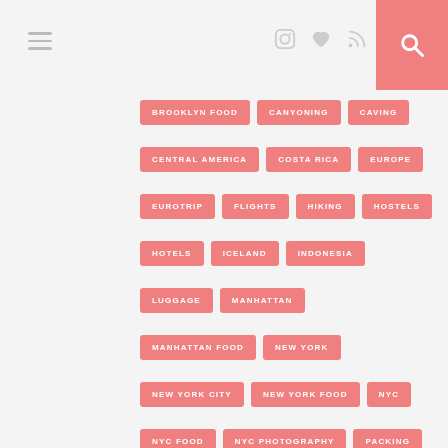Navigation header with hamburger menu, social icons, and search
BROOKLYN FOOD
CANYONING
CAVING
CENTRAL AMERICA
COSTA RICA
EUROPE
EUROTRIP
FLIGHTS
HIKING
HOSTELS
HOTELS
ICELAND
INDONESIA
LUGGAGE
MANHATTAN
MANHATTAN FOOD
NEW YORK
NEW YORK CITY
NEW YORK FOOD
NYC
NYC FOOD
NYC PHOTOGRAPHY
PACKING
PHOTOGRAPHY
PLANNING
RAINBOW BAGEL
SPELUNKING
STATEN ISLAND
TICKETS
TIMES SQUARE
TRAINS
TRAVEL
TRAVEL BLOG